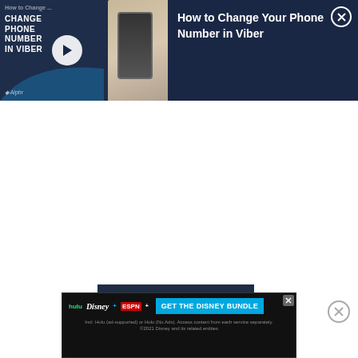[Figure (screenshot): Video thumbnail and info panel for 'How to Change Your Phone Number in Viber'. Left side shows dark navy background with title text and a play button, person holding phone visible. Right side shows the video title in white on dark navy with a close button.]
PREVIOUS PAGE
[Figure (screenshot): Disney Bundle advertisement banner showing Hulu, Disney+, and ESPN+ logos with a 'GET THE DISNEY BUNDLE' call to action button and fine print text.]